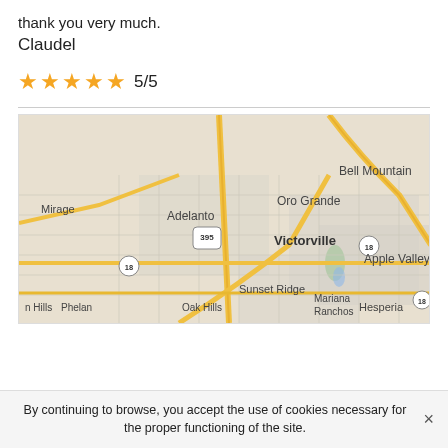thank you very much.
Claudel
★★★★★ 5/5
[Figure (map): Google-style road map showing the Victorville, Adelanto, Hesperia, Apple Valley, Oro Grande, Bell Mountain, Mirage, Phelan, Oak Hills, Mariana Ranchos, and Sunset Ridge areas in Southern California. Route 395 and Route 18 are highlighted with yellow roads.]
By continuing to browse, you accept the use of cookies necessary for the proper functioning of the site.